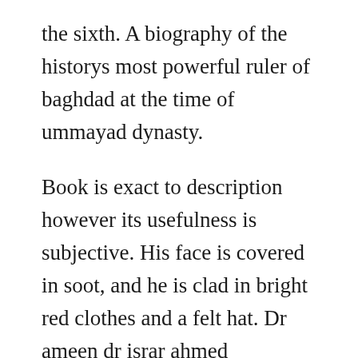the sixth. A biography of the historys most powerful ruler of baghdad at the time of ummayad dynasty.
Book is exact to description however its usefulness is subjective. His face is covered in soot, and he is clad in bright red clothes and a felt hat. Dr ameen dr israr ahmed education educational english books e quran academy school fiqh firqa wariat free books free urdu books ghair muqallideen guidance guidelines gumrah firqay afraad hajj hakeem muhammad iqbal history novel honorable how how to